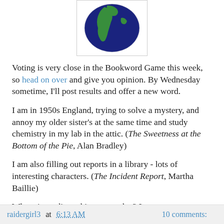[Figure (illustration): Globe emoji/illustration showing Earth with blue oceans and green continents, partially cropped at top]
Voting is very close in the Bookword Game this week, so head on over and give you opinion. By Wednesday sometime, I'll post results and offer a new word.
I am in 1950s England, trying to solve a mystery, and annoy my older sister's at the same time and study chemistry in my lab in the attic. (The Sweetness at the Bottom of the Pie, Alan Bradley)
I am also filling out reports in a library - lots of interesting characters. (The Incident Report, Martha Baillie)
Where is reading taking you today? Leave a comment, write a post, spread the word.
raidergirl3 at 6:13 AM   10 comments: